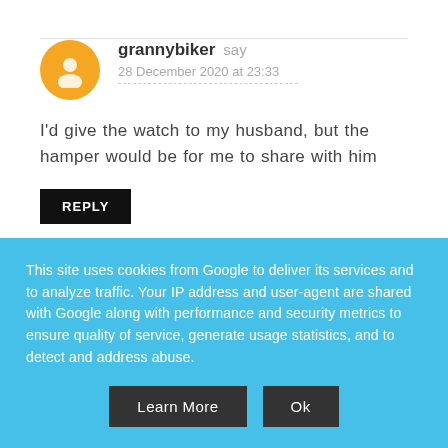grannybiker say
28 December 2020 at 23:33
I'd give the watch to my husband, but the hamper would be for me to share with him
REPLY
pete say
This site uses cookies from Google to deliver its services and to analyze traffic. Your IP address and user-agent are shared with Google along with performance and security metrics to ensure quality of service, generate usage statistics, and to detect and address abuse.
Learn More
Ok